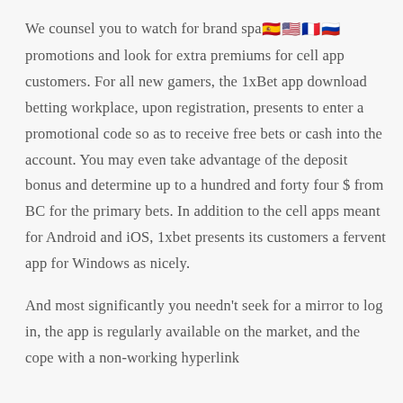We counsel you to watch for brand spa [flags] promotions and look for extra premiums for cell app customers. For all new gamers, the 1xBet app download betting workplace, upon registration, presents to enter a promotional code so as to receive free bets or cash into the account. You may even take advantage of the deposit bonus and determine up to a hundred and forty four $ from BC for the primary bets. In addition to the cell apps meant for Android and iOS, 1xbet presents its customers a fervent app for Windows as nicely.
And most significantly you needn't seek for a mirror to log in, the app is regularly available on the market, and the cope with a non-working hyperlink